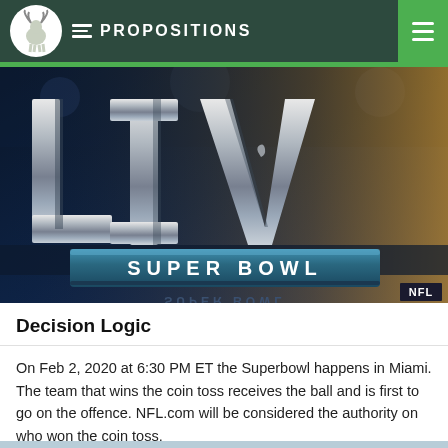PROPOSITIONS
[Figure (photo): Super Bowl LIV promotional image with large silver metallic letters spelling LIV and a banner reading SUPER BOWL on a dark blue background with NFL badge in corner]
Decision Logic
On Feb 2, 2020 at 6:30 PM ET the Superbowl happens in Miami. The team that wins the coin toss receives the ball and is first to go on the offence. NFL.com will be considered the authority on who won the coin toss.
NFL, football, coin toss  384